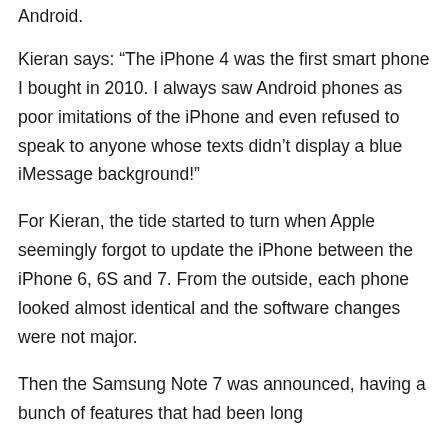Android.
Kieran says: “The iPhone 4 was the first smart phone I bought in 2010. I always saw Android phones as poor imitations of the iPhone and even refused to speak to anyone whose texts didn’t display a blue iMessage background!”
For Kieran, the tide started to turn when Apple seemingly forgot to update the iPhone between the iPhone 6, 6S and 7. From the outside, each phone looked almost identical and the software changes were not major.
Then the Samsung Note 7 was announced, having a bunch of features that had been long...